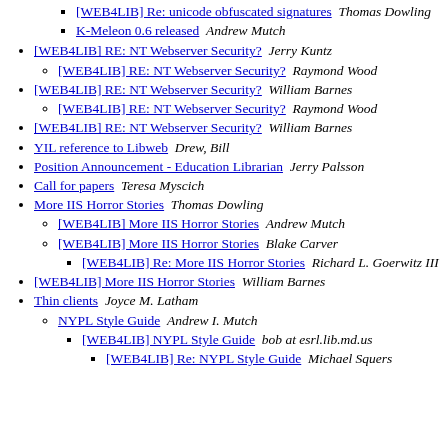[WEB4LIB] Re: unicode obfuscated signatures  Thomas Dowling (nested level 3)
K-Meleon 0.6 released  Andrew Mutch (nested level 3)
[WEB4LIB] RE: NT Webserver Security?  Jerry Kuntz
[WEB4LIB] RE: NT Webserver Security?  Raymond Wood (nested level 2)
[WEB4LIB] RE: NT Webserver Security?  William Barnes
[WEB4LIB] RE: NT Webserver Security?  Raymond Wood (nested level 2)
[WEB4LIB] RE: NT Webserver Security?  William Barnes
YIL reference to Libweb  Drew, Bill
Position Announcement - Education Librarian  Jerry Palsson
Call for papers  Teresa Myscich
More IIS Horror Stories  Thomas Dowling
[WEB4LIB] More IIS Horror Stories  Andrew Mutch (nested level 2)
[WEB4LIB] More IIS Horror Stories  Blake Carver (nested level 2)
[WEB4LIB] Re: More IIS Horror Stories  Richard L. Goerwitz III (nested level 3)
[WEB4LIB] More IIS Horror Stories  William Barnes
Thin clients  Joyce M. Latham
NYPL Style Guide  Andrew I. Mutch (nested level 2)
[WEB4LIB] NYPL Style Guide  bob at esrl.lib.md.us (nested level 3)
[WEB4LIB] Re: NYPL Style Guide  Michael Squers (nested level 4)